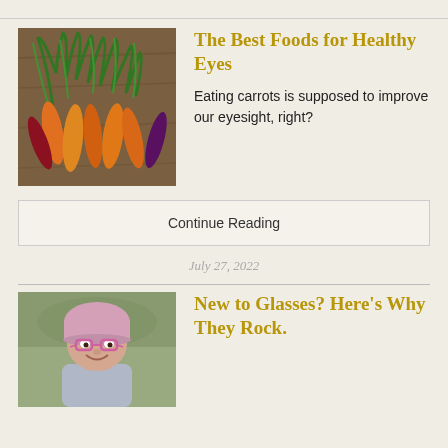[Figure (photo): Bunch of colorful carrots (orange, red, purple) with green tops on a wooden surface]
The Best Foods for Healthy Eyes
Eating carrots is supposed to improve our eyesight, right?
Continue Reading
July 27, 2022
[Figure (photo): Young girl wearing pink knit hat and pink glasses, smiling, outdoors]
New to Glasses? Here's Why They Rock.